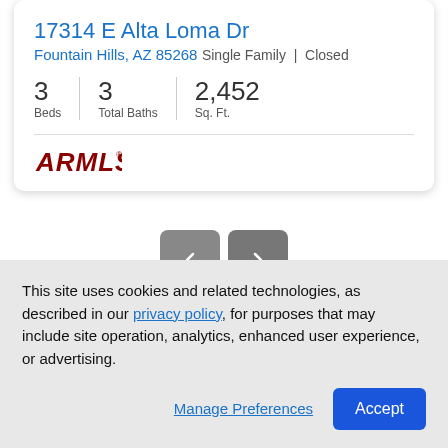17314 E Alta Loma Dr
Fountain Hills, AZ 85268
Single Family | Closed
| Beds | Total Baths | Sq. Ft. |
| --- | --- | --- |
| 3 | 3 | 2,452 |
[Figure (logo): ARMLS logo in dark red]
[Figure (other): Navigation previous and next arrow buttons]
This site uses cookies and related technologies, as described in our privacy policy, for purposes that may include site operation, analytics, enhanced user experience, or advertising.
Manage Preferences
Accept